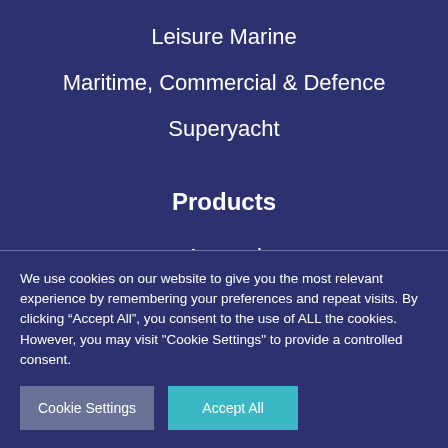Leisure Marine
Maritime, Commercial & Defence
Superyacht
Products
Apparel
Boats and Outboards
We use cookies on our website to give you the most relevant experience by remembering your preferences and repeat visits. By clicking “Accept All”, you consent to the use of ALL the cookies. However, you may visit "Cookie Settings" to provide a controlled consent.